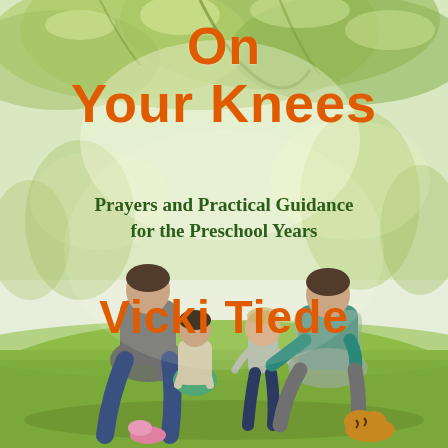[Figure (photo): Book cover photo: a family (father and mother) sitting on grass outdoors under green leafy trees, with two young children, a toddler and a preschool-aged child, in a park-like setting with soft natural light.]
On Your Knees
Prayers and Practical Guidance for the Preschool Years
Vicki Tiede